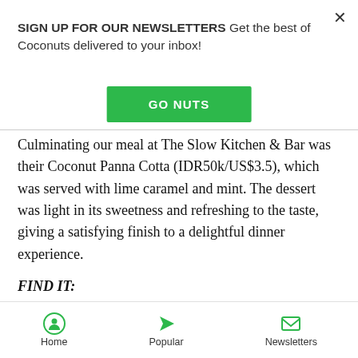SIGN UP FOR OUR NEWSLETTERS Get the best of Coconuts delivered to your inbox!
GO NUTS
Culminating our meal at The Slow Kitchen & Bar was their Coconut Panna Cotta (IDR50k/US$3.5), which was served with lime caramel and mint. The dessert was light in its sweetness and refreshing to the taste, giving a satisfying finish to a delightful dinner experience.
FIND IT:
The Slow Kitchen & Bar is at Jalan Batu Bolong 97, Canggu
Open: 7am-10pm, daily (drinks 'till late)
Home   Popular   Newsletters